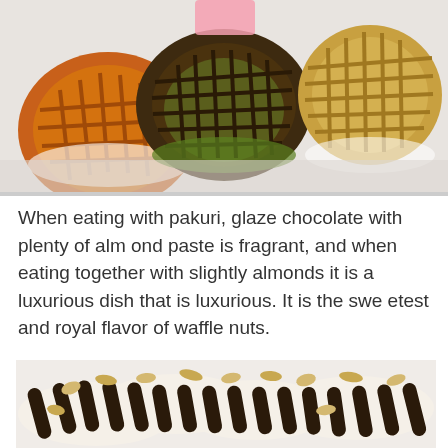[Figure (photo): Three round waffles in different colors/flavors - orange/plain, dark green matcha, and golden - placed on white paper wrappers on a light surface]
When eating with pakuri, glaze chocolate with plenty of almond paste is fragrant, and when eating together with slightly almonds it is a luxurious dish that is luxurious. It is the sweetest and royal flavor of waffle nuts.
[Figure (photo): Waffles topped with chocolate drizzle stripes and almond slices, arranged in a group on a light surface]